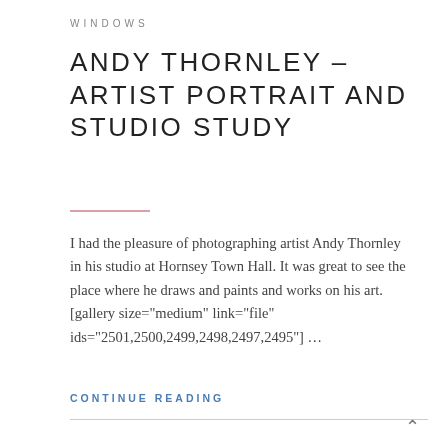WINDOWS
ANDY THORNLEY – ARTIST PORTRAIT AND STUDIO STUDY
I had the pleasure of photographing artist Andy Thornley in his studio at Hornsey Town Hall. It was great to see the place where he draws and paints and works on his art. [gallery size="medium" link="file" ids="2501,2500,2499,2498,2497,2495"] …
CONTINUE READING